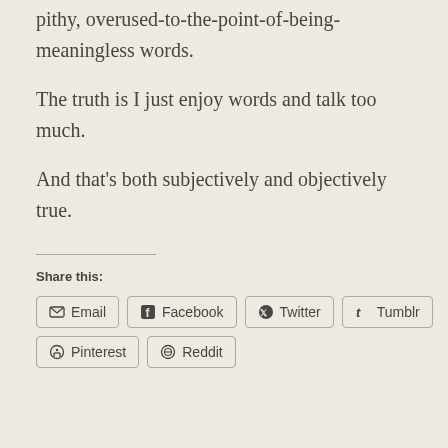pithy, overused-to-the-point-of-being-meaningless words.
The truth is I just enjoy words and talk too much.
And that's both subjectively and objectively true.
Share this:
Email | Facebook | Twitter | Tumblr | Pinterest | Reddit